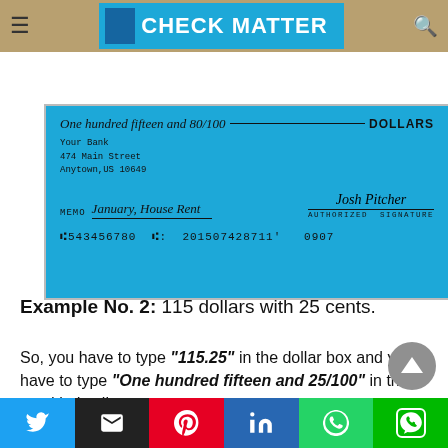CHECK MATTER
[Figure (illustration): A filled-out check showing 'One hundred fifteen and 80/100 DOLLARS', bank info for Your Bank 474 Main Street Anytown,US 10649, memo January, House Rent, authorized signature Josh Pitcher, routing numbers :543456780 |: 20150742871|' 0907]
Write a check amount of 115 dollars with cents
Example No. 2: 115 dollars with 25 cents.
So, you have to type "115.25" in the dollar box and you have to type "One hundred fifteen and 25/100" in the word index line.